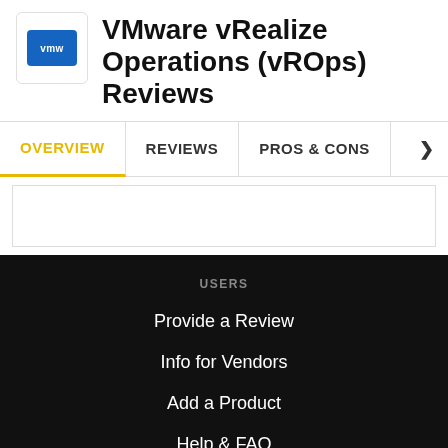VMware vRealize Operations (vROps) Reviews
OVERVIEW
REVIEWS
PROS & CONS
USERS
Provide a Review
Info for Vendors
Add a Product
Help & FAQ